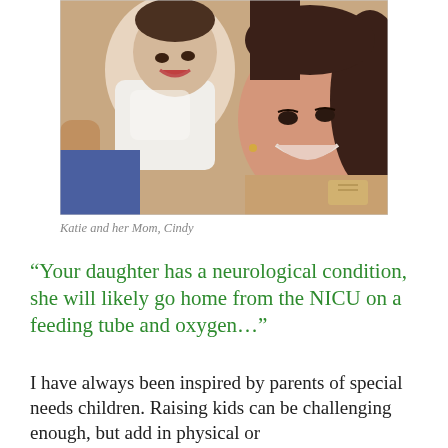[Figure (photo): A smiling woman (Cindy) holding up a baby (Katie), both looking happy. The baby is held up close to the woman's face. The woman has long brown hair and is smiling broadly.]
Katie and her Mom, Cindy
“Your daughter has a neurological condition, she will likely go home from the NICU on a feeding tube and oxygen…”
I have always been inspired by parents of special needs children. Raising kids can be challenging enough, but add in physical or